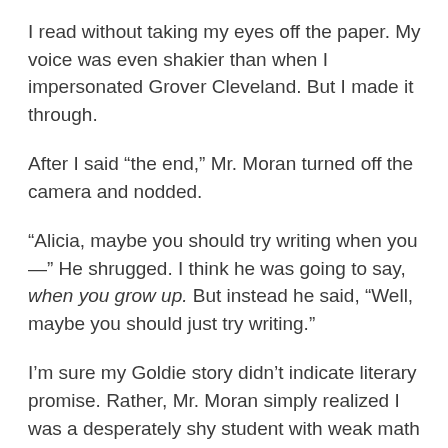I read without taking my eyes off the paper. My voice was even shakier than when I impersonated Grover Cleveland. But I made it through.
After I said “the end,” Mr. Moran turned off the camera and nodded.
“Alicia, maybe you should try writing when you—” He shrugged. I think he was going to say, when you grow up. But instead he said, “Well, maybe you should just try writing.”
I’m sure my Goldie story didn’t indicate literary promise. Rather, Mr. Moran simply realized I was a desperately shy student with weak math skills and a vivid imagination, and maybe if he coaxed me in the right direction, I’d become braver.